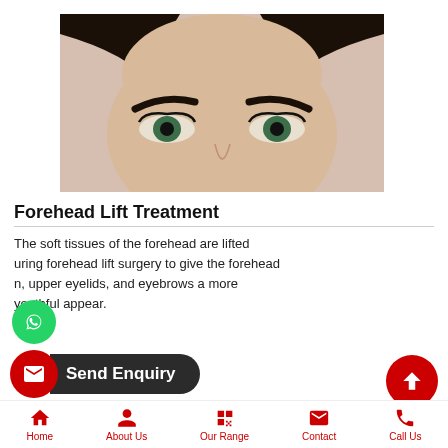[Figure (photo): Close-up photo of a woman's face showing forehead, eyebrows, and eyes area against a beige background]
Forehead Lift Treatment
The soft tissues of the forehead are lifted during forehead lift surgery to give the forehead skin, upper eyelids, and eyebrows a more youthful appear.
Send Enquiry
Read More → | Book Appointment
Home | About Us | Our Range | Contact | Call Us